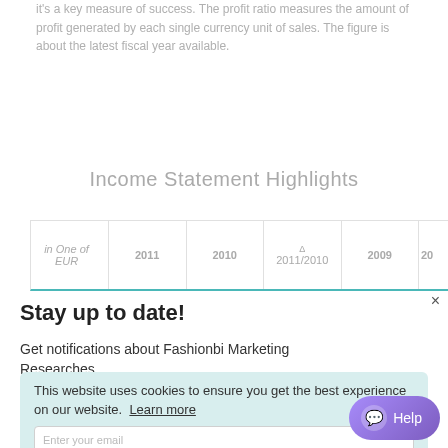it's a key measure of success. The profit ratio measures the amount of profit generated by each single currency unit of sales. The figure is about the latest fiscal year available.
Income Statement Highlights
| in One of EUR | 2011 | 2010 | Δ 2011/2010 | 2009 | 20... |
| --- | --- | --- | --- | --- | --- |
Stay up to date!
Get notifications about Fashionbi Marketing Researches
This website uses cookies to ensure you get the best experience on our website. Learn more
Got it!